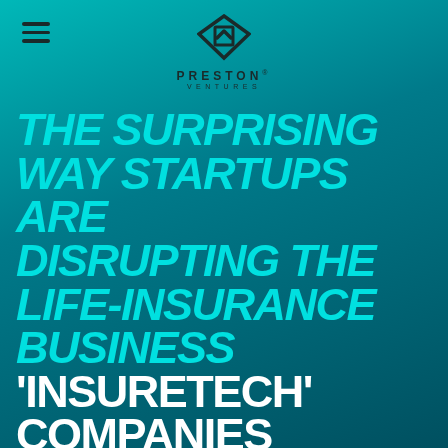[Figure (logo): Preston Ventures logo — diamond/arrow geometric mark in dark teal above the text PRESTON VENTURES]
THE SURPRISING WAY STARTUPS ARE DISRUPTING THE LIFE-INSURANCE BUSINESS
'INSURETECH' COMPANIES FOUND IT MADE MORE